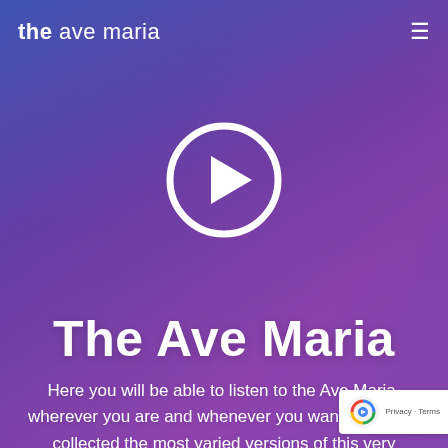the ave maria
[Figure (illustration): White circular play button icon with a triangle/arrow inside]
The Ave Maria
Here you will be able to listen to the Ave Maria, wherever you are and whenever you want. We have collected the most varied versions of this very beautifull prayer converted to a song that fill us with peace.
[Figure (logo): reCAPTCHA badge with Google logo, Privacy and Terms links]